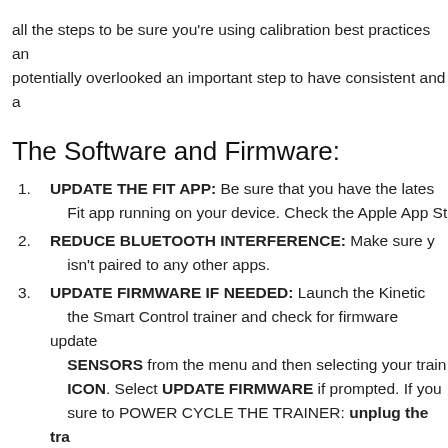all the steps to be sure you're using calibration best practices an potentially overlooked an important step to have consistent and a
The Software and Firmware:
UPDATE THE FIT APP: Be sure that you have the latest Fit app running on your device. Check the Apple App St
REDUCE BLUETOOTH INTERFERENCE: Make sure y isn't paired to any other apps.
UPDATE FIRMWARE IF NEEDED: Launch the Kinetic the Smart Control trainer and check for firmware update SENSORS from the menu and then selecting your train ICON. Select UPDATE FIRMWARE if prompted. If you sure to POWER CYCLE THE TRAINER: unplug the tra